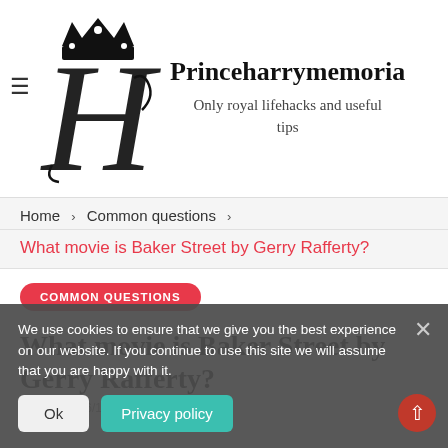[Figure (logo): Princeharrymemorial website logo: ornate black letter H with crown, script monogram style]
Princeharrymemoria...
Only royal lifehacks and useful tips
Home › Common questions ›
What movie is Baker Street by Gerry Rafferty?
COMMON QUESTIONS
What movie is Baker Street by Gerry Rafferty?
by JACK   06/18/2020
We use cookies to ensure that we give you the best experience on our website. If you continue to use this site we will assume that you are happy with it.